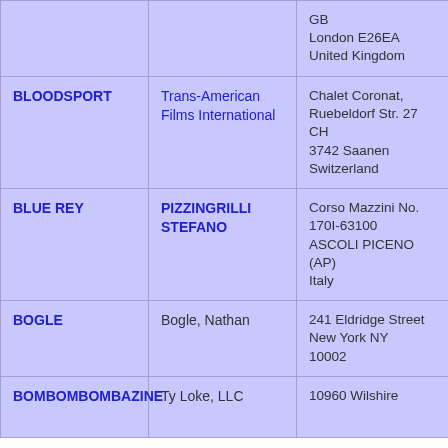| Title | Name | Address |
| --- | --- | --- |
|  |  | GB
London E26EA
United Kingdom |
| BLOODSPORT | Trans-American Films International | Chalet Coronat, Ruebeldorf Str. 27
CH
3742 Saanen
Switzerland |
| BLUE REY | PIZZINGRILLI STEFANO | Corso Mazzini No. 170I-63100
ASCOLI PICENO (AP)
Italy |
| BOGLE | Bogle, Nathan | 241 Eldridge Street
New York NY
10002 |
| BOMBOMBOMBAZINE | Ty Loke, LLC | 10960 Wilshire |